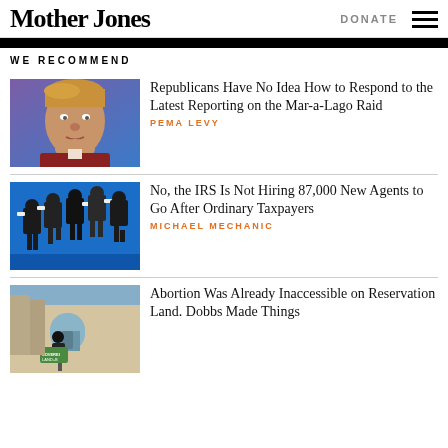Mother Jones | DONATE
WE RECOMMEND
[Figure (photo): Donald Trump at an event, blue/purple background]
Republicans Have No Idea How to Respond to the Latest Reporting on the Mar-a-Lago Raid
PEMA LEVY
[Figure (photo): Multiple figures in black suits marching on blue background]
No, the IRS Is Not Hiring 87,000 New Agents to Go After Ordinary Taxpayers
MICHAEL MECHANIC
[Figure (photo): Person holding protest sign outside building]
Abortion Was Already Inaccessible on Reservation Land. Dobbs Made Things